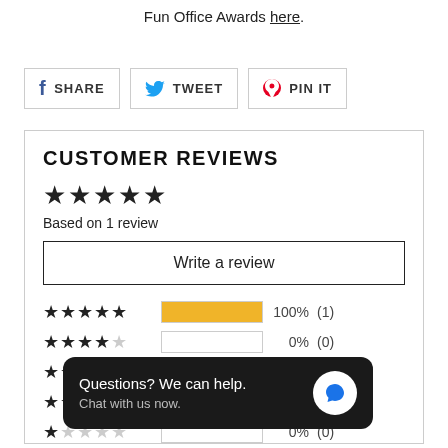Fun Office Awards here.
[Figure (infographic): Social share buttons: Facebook SHARE, Twitter TWEET, Pinterest PIN IT]
CUSTOMER REVIEWS
★★★★★ Based on 1 review
Write a review
5 stars: 100% (1), 4 stars: 0% (0), 3 stars: 0% (0), 2 stars: 0% (0), 1 star: 0% (0)
[Figure (infographic): Chat popup: Questions? We can help. Chat with us now.]